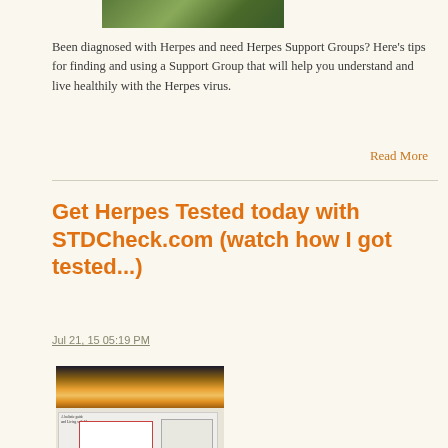[Figure (photo): Partial image of people at top of page]
Been diagnosed with Herpes and need Herpes Support Groups? Here's tips for finding and using a Support Group that will help you understand and live healthily with the Herpes virus.
Read More
Get Herpes Tested today with STDCheck.com (watch how I got tested...)
Jul 21, 15 05:19 PM
[Figure (screenshot): Screenshot composite image with sunset background and website overlay]